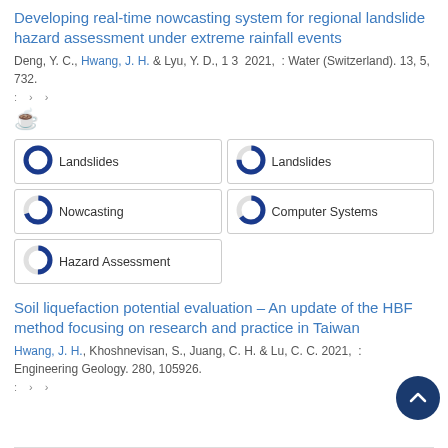Developing real-time nowcasting system for regional landslide hazard assessment under extreme rainfall events
Deng, Y. C., Hwang, J. H. & Lyu, Y. D., 1 3 2021, : Water (Switzerland). 13, 5, 732.
[Figure (infographic): Open access icon (orange lock symbol) and navigation icons]
[Figure (infographic): Keyword badges with donut chart icons: Landslides (100%), Landslides (75%), Nowcasting (70%), Computer Systems (65%), Hazard Assessment (50%)]
Soil liquefaction potential evaluation – An update of the HBF method focusing on research and practice in Taiwan
Hwang, J. H., Khoshnevisan, S., Juang, C. H. & Lu, C. C. 2021, : Engineering Geology. 280, 105926.